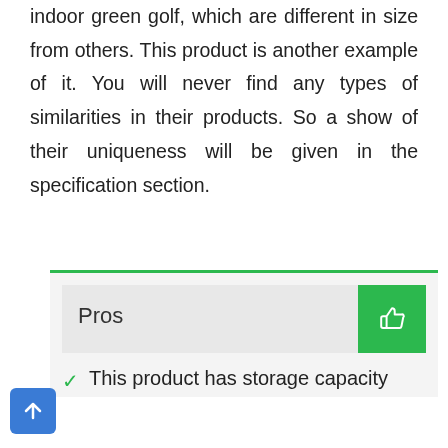indoor green golf, which are different in size from others. This product is another example of it. You will never find any types of similarities in their products. So a show of their uniqueness will be given in the specification section.
Pros
This product has storage capacity